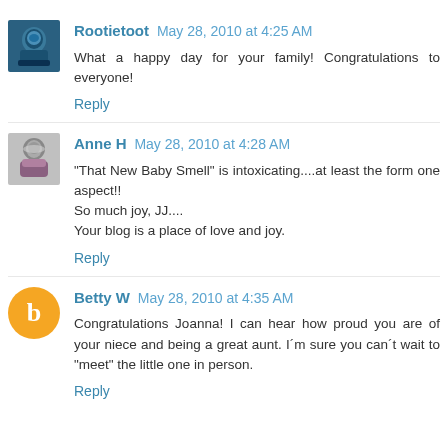Rootietoot May 28, 2010 at 4:25 AM
What a happy day for your family! Congratulations to everyone!
Reply
Anne H May 28, 2010 at 4:28 AM
"That New Baby Smell" is intoxicating....at least the form one aspect!!
So much joy, JJ....
Your blog is a place of love and joy.
Reply
Betty W May 28, 2010 at 4:35 AM
Congratulations Joanna! I can hear how proud you are of your niece and being a great aunt. I´m sure you can´t wait to "meet" the little one in person.
Reply